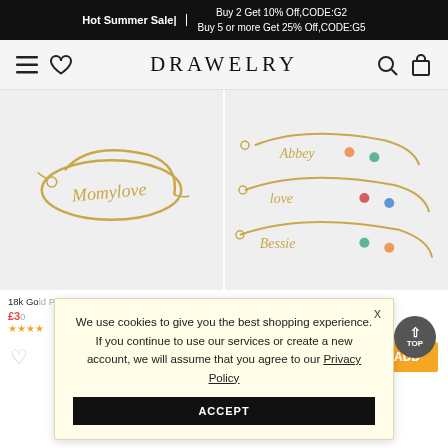Hot Summer Sale | Buy 2 Get 10% Off,CODE:G2 Buy 5 or more Get 25% Off,CODE:G5
[Figure (logo): DRAWELRY brand name with hamburger menu, heart, search, and cart icons in navbar]
[Figure (photo): Gold name bracelet with cursive text on light background - left product image]
[Figure (photo): Multiple gold name bracelets with colorful gemstones (Abbey, Bessie, etc.) - right product image]
18k Gold Plated Silver
£30
We use cookies to give you the best shopping experience. If you continue to use our services or create a new account, we will assume that you agree to our Privacy Policy
ACCEPT